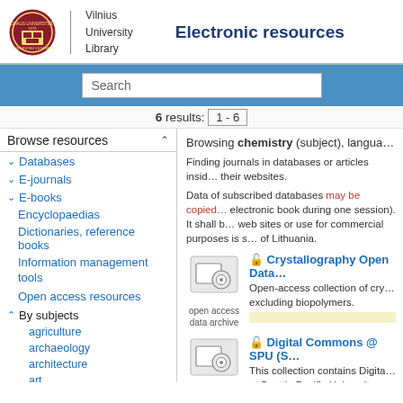Vilnius University Library — Electronic resources
Search
6 results: 1 - 6
Browse resources
Databases
E-journals
E-books
Encyclopaedias
Dictionaries, reference books
Information management tools
Open access resources
By subjects
agriculture
archaeology
architecture
art
astronomy
Browsing chemistry (subject), langua…
Finding journals in databases or articles inside their websites.
Data of subscribed databases may be copied… electronic book during one session). It shall b… web sites or use for commercial purposes is s… of Lithuania.
Crystallography Open Data…
Open-access collection of cry… excluding biopolymers.
Digital Commons @ SPU (S…
This collection contains Digita… at Seattle Pacific University, a…